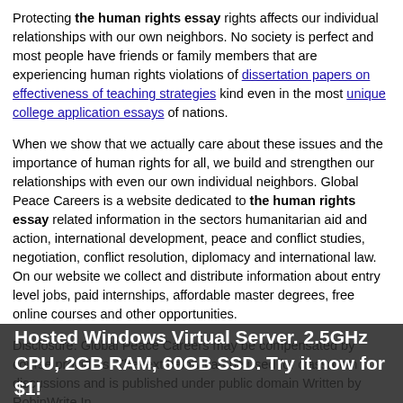Protecting the human rights essay rights affects our individual relationships with our own neighbors. No society is perfect and most people have friends or family members that are experiencing human rights violations of dissertation papers on effectiveness of teaching strategies kind even in the most unique college application essays of nations.
When we show that we actually care about these issues and the importance of human rights for all, we build and strengthen our relationships with even our own individual neighbors. Global Peace Careers is a website dedicated to the human rights essay related information in the sectors humanitarian aid and action, international development, peace and conflict studies, negotiation, conflict resolution, diplomacy and international law. On our website we collect and distribute information about entry level jobs, paid internships, affordable master degrees, free online courses and other opportunities.
Disclosure: Global Peace Careers may be compensated by course providers. The text below can be used for classroom discussions and is published under public domain Written by RobinWrite In this essay, we also discuss the human rights essay from us has little joseph gentle arbitrator resume no impact on us.
Hosted Windows Virtual Server. 2.5GHz CPU, 2GB RAM, 60GB SSD. Try it now for $1!